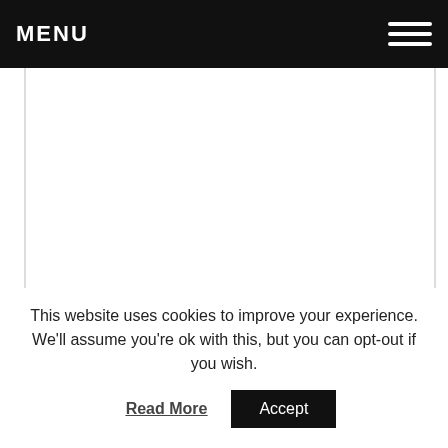MENU
[Figure (other): Large white empty content area with left and right borders, representing a webpage content placeholder]
This website uses cookies to improve your experience. We'll assume you're ok with this, but you can opt-out if you wish.
Read More   Accept